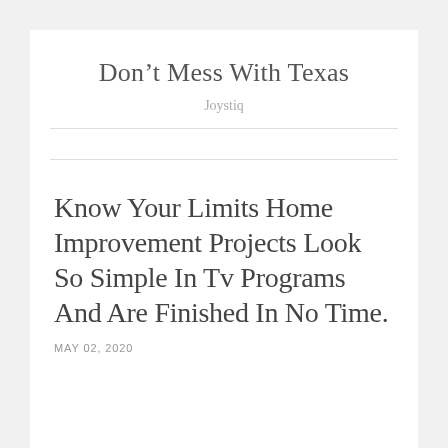Don’t Mess With Texas
Joystiq
Know Your Limits Home Improvement Projects Look So Simple In Tv Programs And Are Finished In No Time.
MAY 02, 2020